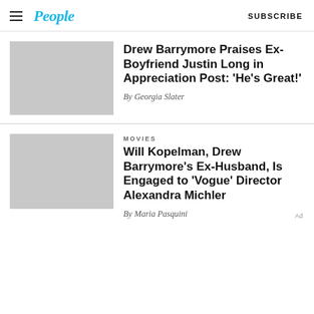People — SUBSCRIBE
[Figure (photo): Thumbnail placeholder image (light gray rectangle) for Drew Barrymore article]
Drew Barrymore Praises Ex-Boyfriend Justin Long in Appreciation Post: 'He's Great!'
By Georgia Slater
[Figure (photo): Thumbnail placeholder image (light gray rectangle) for Will Kopelman article]
MOVIES
Will Kopelman, Drew Barrymore's Ex-Husband, Is Engaged to 'Vogue' Director Alexandra Michler
By Maria Pasquini
Ad